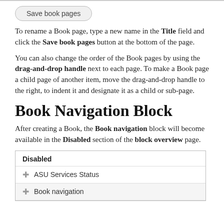[Figure (screenshot): A rounded button labeled 'Save book pages']
To rename a Book page, type a new name in the Title field and click the Save book pages button at the bottom of the page.
You can also change the order of the Book pages by using the drag-and-drop handle next to each page. To make a Book page a child page of another item, move the drag-and-drop handle to the right, to indent it and designate it as a child or sub-page.
Book Navigation Block
After creating a Book, the Book navigation block will become available in the Disabled section of the block overview page.
[Figure (screenshot): A UI screenshot showing a 'Disabled' section with two rows: 'ASU Services Status' and 'Book navigation', each with a drag-and-drop cross handle icon.]